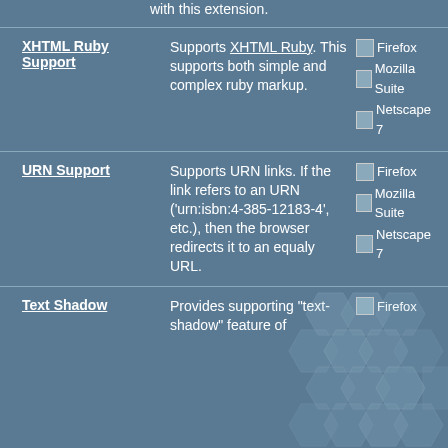with this extension.
XHTML Ruby Support
Supports XHTML Ruby. This supports both simple and complex ruby markup.
[Figure (illustration): Browser compatibility icons: Firefox, Mozilla Suite, Netscape 7]
URN Support
Supports URN links. If the link refers to an URN ('urn:isbn:4-385-12183-4', etc.), then the browser redirects it to an equaly URL.
[Figure (illustration): Browser compatibility icons: Firefox, Mozilla Suite, Netscape 7]
Text Shadow
Provides supporting "text-shadow" feature of
[Figure (illustration): Browser compatibility icon: Firefox]